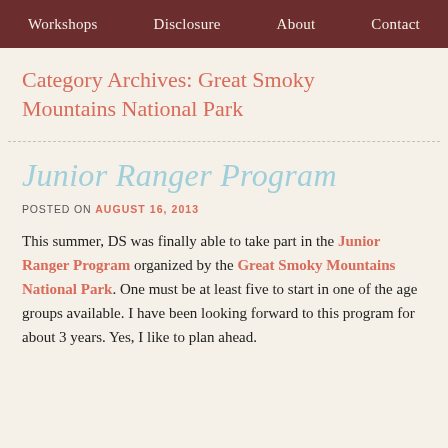Workshops | Disclosure | About | Contact
Category Archives: Great Smoky Mountains National Park
Junior Ranger Program
POSTED ON AUGUST 16, 2013
This summer, DS was finally able to take part in the Junior Ranger Program organized by the Great Smoky Mountains National Park. One must be at least five to start in one of the age groups available. I have been looking forward to this program for about 3 years. Yes, I like to plan ahead.